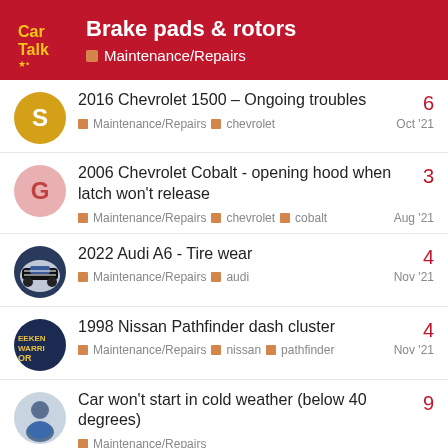Brake pads & rotors — Maintenance/Repairs
2016 Chevrolet 1500 - Ongoing troubles | Maintenance/Repairs, chevrolet | Oct '21 | 6 replies
2006 Chevrolet Cobalt - opening hood when latch won't release | Maintenance/Repairs, chevrolet, cobalt | Aug '21 | 3 replies
2022 Audi A6 - Tire wear | Maintenance/Repairs, audi | Nov '21 | 4 replies
1998 Nissan Pathfinder dash cluster | Maintenance/Repairs, nissan, pathfinder | Nov '21 | 4 replies
Car won't start in cold weather (below 40 degrees) | Maintenance/Repairs | 9 replies